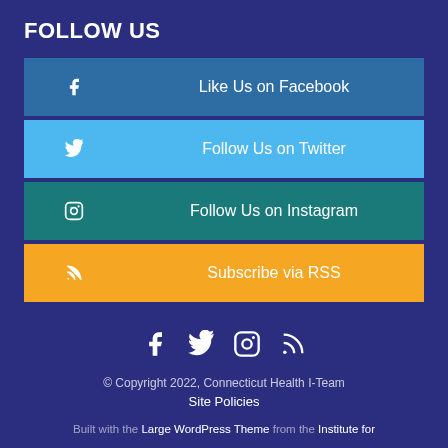FOLLOW US
Like Us on Facebook
Follow Us on Twitter
Follow Us on Instagram
Subscribe via RSS
[Figure (infographic): Social media icons: Facebook, Twitter, Instagram, RSS]
© Copyright 2022, Connecticut Health I-Team Site Policies Built with the Large WordPress Theme from the Institute for
Site Policies
Built with the Large WordPress Theme from the Institute for